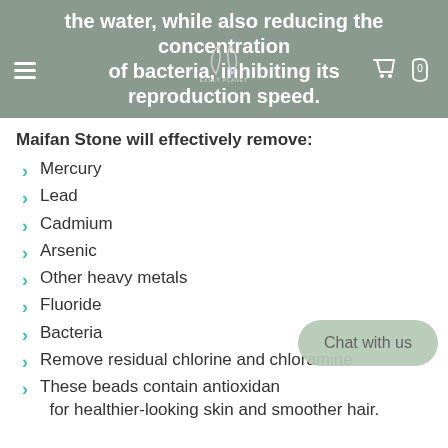the water, while also reducing the concentration of bacteria, inhibiting its reproduction speed.
Maifan Stone will effectively remove:
Mercury
Lead
Cadmium
Arsenic
Other heavy metals
Fluoride
Bacteria
Remove residual chlorine and chloramine
These beads contain antioxidant properties for healthier-looking skin and smoother hair.